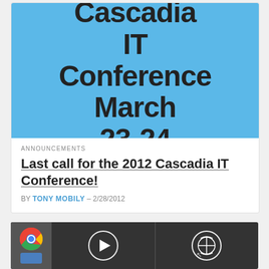[Figure (photo): Blue rounded shape with bold text reading 'Cascadia IT Conference March 23-24 Seattle']
ANNOUNCEMENTS
Last call for the 2012 Cascadia IT Conference!
BY TONY MOBILY – 2/28/2012
[Figure (screenshot): Dark screenshot showing Chrome browser icon on left, a play button circle in the middle panel, and a search/globe icon circle on the right panel with a cursor visible]